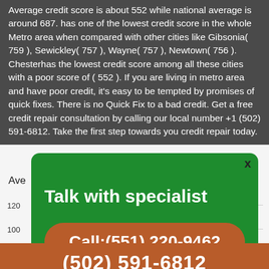Average credit score is about 552 while national average is around 687. has one of the lowest credit score in the whole Metro area when compared with other cities like Gibsonia( 759 ), Sewickley( 757 ), Wayne( 757 ), Newtown( 756 ). Chesterhas the lowest credit score among all these cities with a poor score of ( 552 ). If you are living in metro area and have poor credit, it's easy to be tempted by promises of quick fixes. There is no Quick Fix to a bad credit. Get a free credit repair consultation by calling our local number +1 (502) 591-6812. Take the first step towards you credit repair today.
[Figure (screenshot): A modal popup overlay on a chart/graph background. The modal has a green background with white text 'Talk with specialist' and an orange-brown button 'Call:(551) 220-9462'. An X close button is visible. Behind the modal, partial chart with y-axis labels 1200, 1000, 800 is visible. A dark orange/brown footer bar at the bottom shows phone number (502) 591-6812.]